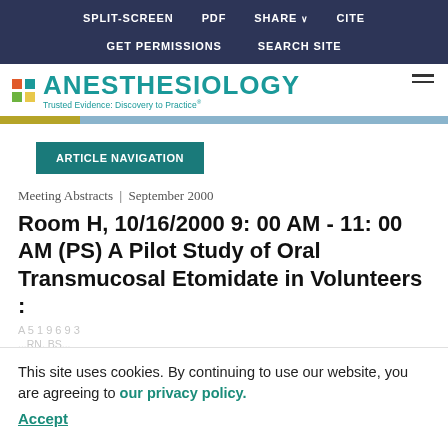SPLIT-SCREEN | PDF | SHARE | CITE | GET PERMISSIONS | SEARCH SITE
[Figure (logo): Anesthesiology journal logo with colored squares and teal text. Tagline: Trusted Evidence: Discovery to Practice]
ARTICLE NAVIGATION
Meeting Abstracts | September 2000
Room H, 10/16/2000 9: 00 AM - 11: 00 AM (PS) A Pilot Study of Oral Transmucosal Etomidate in Volunteers :
This site uses cookies. By continuing to use our website, you are agreeing to our privacy policy.
Accept